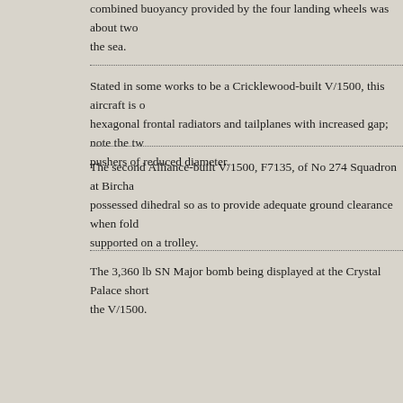combined buoyancy provided by the four landing wheels was about two the sea.
Stated in some works to be a Cricklewood-built V/1500, this aircraft is o hexagonal frontal radiators and tailplanes with increased gap; note the tw pushers of reduced diameter.
The second Alliance-built V/1500, F7135, of No 274 Squadron at Bircha possessed dihedral so as to provide adequate ground clearance when fold supported on a trolley.
The 3,360 lb SN Major bomb being displayed at the Crystal Palace short the V/1500.